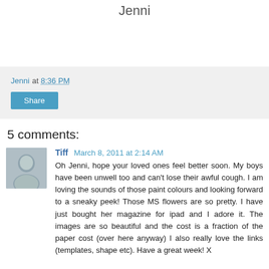Jenni
Jenni at 8:36 PM
Share
5 comments:
Tiff March 8, 2011 at 2:14 AM
Oh Jenni, hope your loved ones feel better soon. My boys have been unwell too and can't lose their awful cough. I am loving the sounds of those paint colours and looking forward to a sneaky peek! Those MS flowers are so pretty. I have just bought her magazine for ipad and I adore it. The images are so beautiful and the cost is a fraction of the paper cost (over here anyway) I also really love the links (templates, shape etc). Have a great week! X